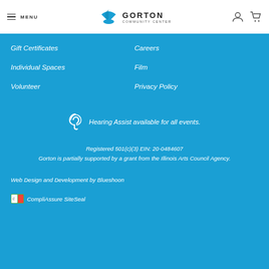MENU | GORTON COMMUNITY CENTER
Gift Certificates
Careers
Individual Spaces
Film
Volunteer
Privacy Policy
Hearing Assist available for all events.
Registered 501(c)(3) EIN: 20-0484607
Gorton is partially supported by a grant from the Illinois Arts Council Agency.
Web Design and Development by Blueshoon
CompliAssure SiteSeal